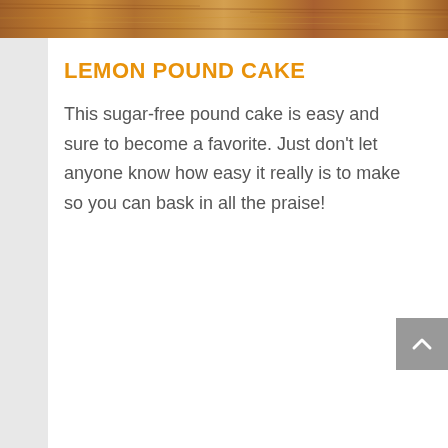[Figure (photo): Wood texture background image at the top of the page]
LEMON POUND CAKE
This sugar-free pound cake is easy and sure to become a favorite. Just don't let anyone know how easy it really is to make so you can bask in all the praise!